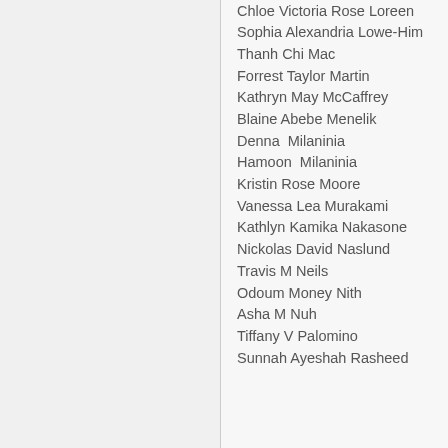Chloe Victoria Rose Loreen
Sophia Alexandria Lowe-Him
Thanh Chi Mac
Forrest Taylor Martin
Kathryn May McCaffrey
Blaine Abebe Menelik
Denna  Milaninia
Hamoon  Milaninia
Kristin Rose Moore
Vanessa Lea Murakami
Kathlyn Kamika Nakasone
Nickolas David Naslund
Travis M Neils
Odoum Money Nith
Asha M Nuh
Tiffany V Palomino
Sunnah Ayeshah Rasheed